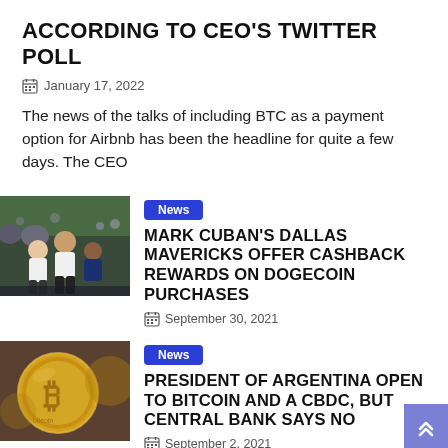ACCORDING TO CEO'S TWITTER POLL
January 17, 2022
The news of the talks of including BTC as a payment option for Airbnb has been the headline for quite a few days. The CEO
[Figure (photo): Basketball players in white jerseys, crowd in background]
News
MARK CUBAN'S DALLAS MAVERICKS OFFER CASHBACK REWARDS ON DOGECOIN PURCHASES
September 30, 2021
[Figure (photo): Close-up of a gold Bitcoin coin]
News
PRESIDENT OF ARGENTINA OPEN TO BITCOIN AND A CBDC, BUT CENTRAL BANK SAYS NO
September 2, 2021